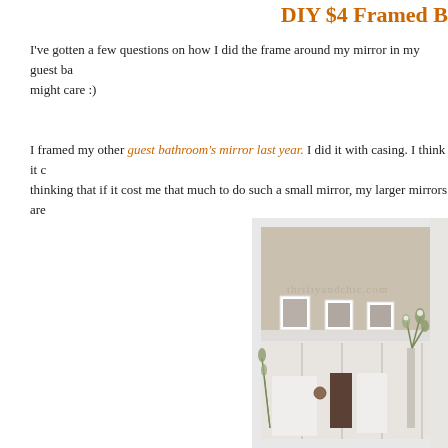DIY $4 Framed B
I've gotten a few questions on how I did the frame around my mirror in my guest ba... might care :)
I framed my other guest bathroom's mirror last year. I did it with casing. I think it c... thinking that if it cost me that much to do such a small mirror, my larger mirrors are...
[Figure (photo): Bathroom interior showing a large framed mirror reflecting a bathroom with board-and-batten wainscoting, white towels, dark accent towel, three framed pictures on a shelf above the wainscoting, and flower arrangements. Watermark reads thriftyandchic.com]